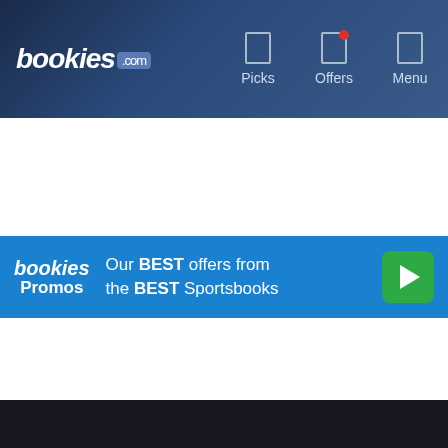bookies.com | Picks | Offers | Menu
[Figure (screenshot): bookies.com navigation bar with logo, Picks, Offers (with notification dot), and Menu icons]
bookies Promos — Our BEST offers from the BEST Sportsbooks
[Figure (other): Dark/black content area below the promo banner, content not loaded]